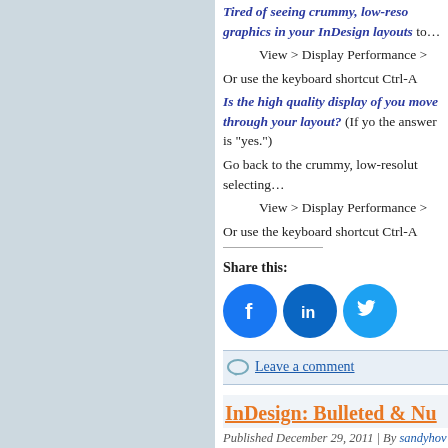Tired of seeing crummy, low-res graphics in your InDesign layouts to…
View > Display Performance >
Or use the keyboard shortcut Ctrl-A
Is the high quality display of your slow as you move through your layout? (If you the answer is "yes.")
Go back to the crummy, low-resolut selecting…
View > Display Performance >
Or use the keyboard shortcut Ctrl-A
Share this:
[Figure (infographic): Social share icons: Facebook (blue circle with F), LinkedIn (blue circle with in), Twitter (light blue circle with bird)]
Leave a comment
InDesign: Bulleted & Nu
Published December 29, 2011 | By sandyhov